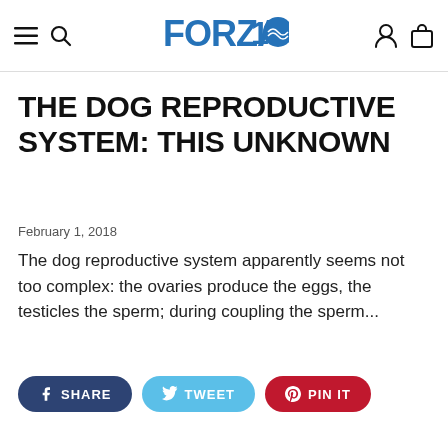FORZA10 navigation header
THE DOG REPRODUCTIVE SYSTEM: THIS UNKNOWN
February 1, 2018
The dog reproductive system apparently seems not too complex: the ovaries produce the eggs, the testicles the sperm; during coupling the sperm...
[Figure (other): Social sharing buttons: Facebook SHARE, Twitter TWEET, Pinterest PIN IT]